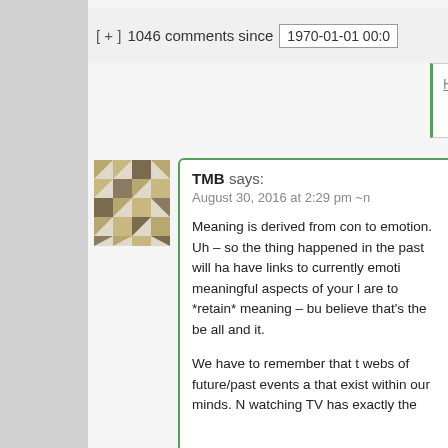[ + ]  1046 comments since  1970-01-01 00:0
Hide ↑
[Figure (illustration): User avatar: geometric pattern in gold/tan and dark colors, square mosaic style]
TMB says:
August 30, 2016 at 2:29 pm ~
Meaning is derived from con... to emotion. Uh – so the thing... happened in the past will ha... have links to currently emoti... meaningful aspects of your l... are to *retain* meaning – bu... believe that's the be all and ... it.

We have to remember that t... webs of future/past events a... that exist within our minds. N... watching TV has exactly the...